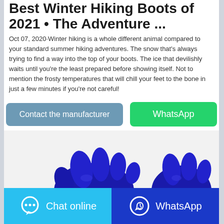Best Winter Hiking Boots of 2021 • The Adventure ...
Oct 07, 2020·Winter hiking is a whole different animal compared to your standard summer hiking adventures. The snow that's always trying to find a way into the top of your boots. The ice that devilishly waits until you're the least prepared before showing itself. Not to mention the frosty temperatures that will chill your feet to the bone in just a few minutes if you're not careful!
[Figure (other): Two blue rubber/latex gloves photographed from above on a white background]
Contact the manufacturer   WhatsApp   Chat online   WhatsApp